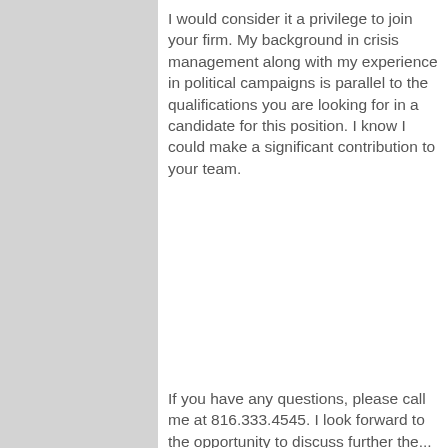I would consider it a privilege to join your firm. My background in crisis management along with my experience in political campaigns is parallel to the qualifications you are looking for in a candidate for this position. I know I could make a significant contribution to your team.
If you have any questions, please call me at 816.333.4545. I look forward to the opportunity to discuss further the...